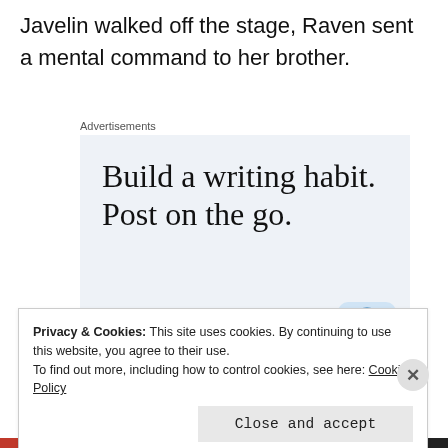Javelin walked off the stage, Raven sent a mental command to her brother.
Advertisements
[Figure (infographic): Advertisement banner with light blue background showing the text 'Build a writing habit. Post on the go.' with a 'GET THE APP' call-to-action link and WordPress logo icon.]
Privacy & Cookies: This site uses cookies. By continuing to use this website, you agree to their use.
To find out more, including how to control cookies, see here: Cookie Policy
Close and accept